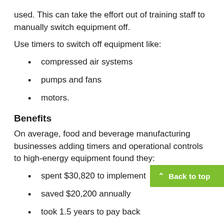used. This can take the effort out of training staff to manually switch equipment off.
Use timers to switch off equipment like:
compressed air systems
pumps and fans
motors.
Benefits
On average, food and beverage manufacturing businesses adding timers and operational controls to high-energy equipment found they:
spent $30,820 to implement
saved $20,200 annually
took 1.5 years to pay back